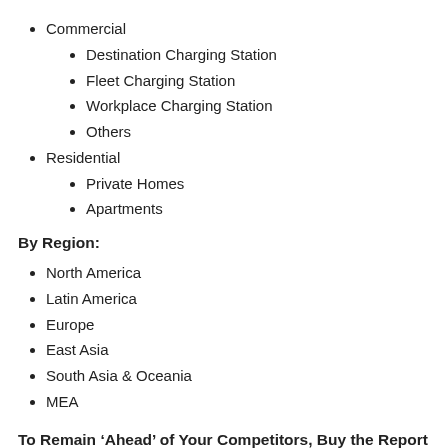Commercial
Destination Charging Station
Fleet Charging Station
Workplace Charging Station
Others
Residential
Private Homes
Apartments
By Region:
North America
Latin America
Europe
East Asia
South Asia & Oceania
MEA
To Remain ‘Ahead’ of Your Competitors, Buy the Report
Now: https://www.futuremarketinsights.com/47453